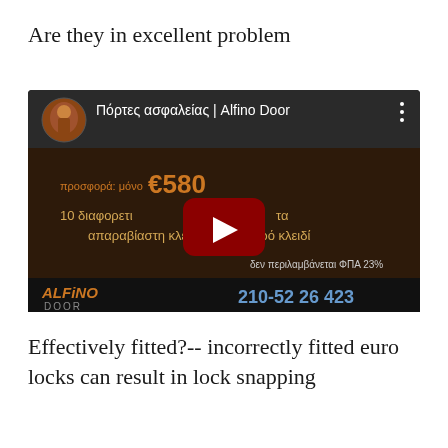Are they in excellent problem
[Figure (screenshot): YouTube video thumbnail showing Alfino Door security doors advertisement. Greek text reads 'Πόρτες ασφαλείας | Alfino Door' in the title bar. The video content shows '€580' price offer, '10 διαφορετικά' and 'απαραβίαστη κλειδαριά με μικρό κλειδί', with 'δεν περιλαμβάνεται ΦΠΑ 23%'. Bottom bar shows 'ALFINO DOOR' logo and phone number '210-52 26 423'. A red YouTube play button is visible in the center.]
Effectively fitted?-- incorrectly fitted euro locks can result in lock snapping